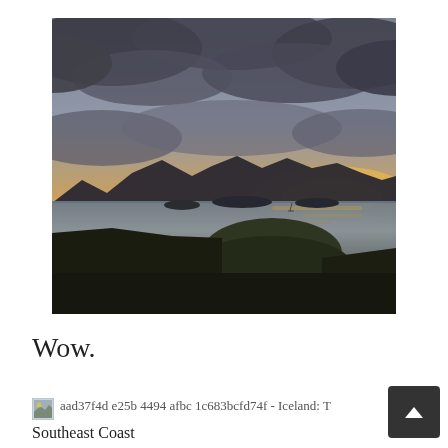[Figure (photo): Landscape photograph of an Icelandic sunset over a bay with mountains in the background, dark green grassy foreground, dramatic cloudy sky with orange and golden hues near the horizon.]
Wow.
[Figure (photo): Small thumbnail image placeholder showing aad37f4d e25b 4494 afbc 1c683bcfd74f - Iceland: The Southeast Coast]
aad37f4d e25b 4494 afbc 1c683bcfd74f - Iceland: The Southeast Coast